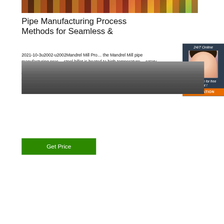[Figure (photo): Top photo of industrial pipe manufacturing environment with red machinery and yellow equipment]
Pipe Manufacturing Process Methods for Seamless &
2021-10-3u2002·u2002Mandrel Mill Process In the Mandrel Mill pipe manufacturing process, the steel billet is heated to high temperature in the rotary furnace. A cylindrical hollow, which is known as mother hollow, is produced with the help of a rotary piercer and set of roller arrangement that keeps the piercer at the center of th
[Figure (photo): 24/7 Online chat widget with a woman wearing a headset, with Click here for free chat and QUOTATION button]
[Figure (photo): Bottom photo of industrial warehouse/factory interior with steel roof structure and overhead cranes]